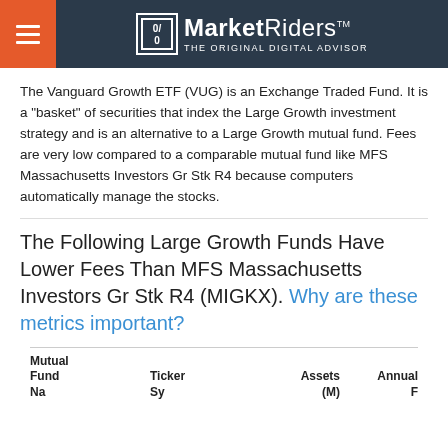MarketRiders — THE ORIGINAL DIGITAL ADVISOR
The Vanguard Growth ETF (VUG) is an Exchange Traded Fund. It is a "basket" of securities that index the Large Growth investment strategy and is an alternative to a Large Growth mutual fund. Fees are very low compared to a comparable mutual fund like MFS Massachusetts Investors Gr Stk R4 because computers automatically manage the stocks.
The Following Large Growth Funds Have Lower Fees Than MFS Massachusetts Investors Gr Stk R4 (MIGKX). Why are these metrics important?
| Mutual Fund Name | Ticker Symbol / Type | Assets (M) | Annual Fee |
| --- | --- | --- | --- |